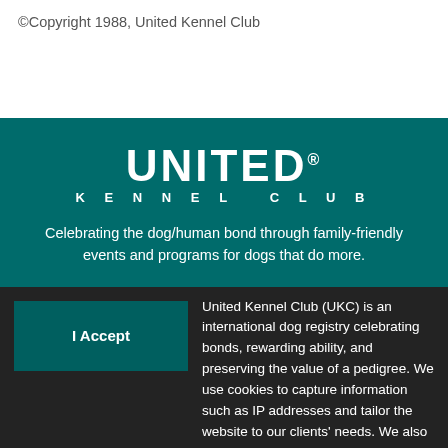©Copyright 1988, United Kennel Club
[Figure (logo): United Kennel Club logo — UNITED in large bold white letters, KENNEL CLUB in spaced white letters below, on a teal background]
Celebrating the dog/human bond through family-friendly events and programs for dogs that do more.
I Accept
United Kennel Club (UKC) is an international dog registry celebrating bonds, rewarding ability, and preserving the value of a pedigree. We use cookies to capture information such as IP addresses and tailor the website to our clients' needs. We also use this information to target and measure promotional material. Please see our Privacy Policy for more information.